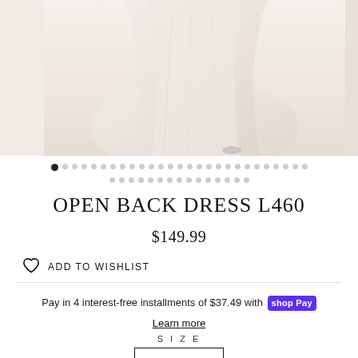[Figure (photo): Product photo of an open back dress, showing the lower portion of a flowing light beige/ivory formal dress against a light background]
OPEN BACK DRESS L460
$149.99
ADD TO WISHLIST
Pay in 4 interest-free installments of $37.49 with shop Pay
Learn more
SIZE